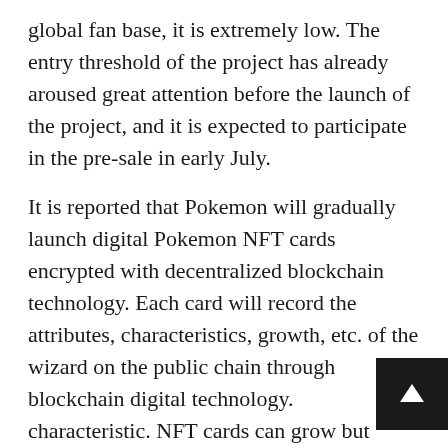global fan base, it is extremely low. The entry threshold of the project has already aroused great attention before the launch of the project, and it is expected to participate in the pre-sale in early July.
It is reported that Pokemon will gradually launch digital Pokemon NFT cards encrypted with decentralized blockchain technology. Each card will record the attributes, characteristics, growth, etc. of the wizard on the public chain through blockchain digital technology. characteristic. NFT cards can grow but cannot be tampered with, ensuring the uniqueness of each card.
Pokémon's sprite cards have many types, attributes, and habits, and the number of different sprite cards released varies according to their scarcity.